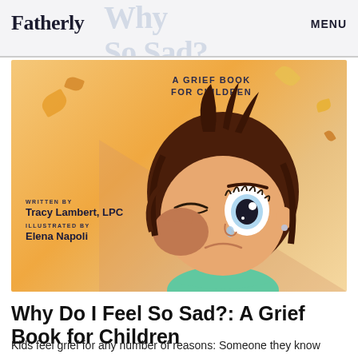Fatherly   MENU
[Figure (illustration): Book cover of 'Why Do I Feel So Sad?: A Grief Book for Children'. Shows an animated child with large eyes wiping tears, with autumn leaves floating around. Written by Tracy Lambert, LPC. Illustrated by Elena Napoli.]
Why Do I Feel So Sad?: A Grief Book for Children
Kids feel grief for any number of reasons: Someone they know died. Or maybe a parent left the home. Or